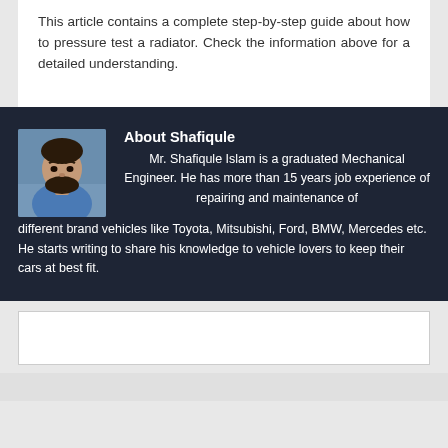This article contains a complete step-by-step guide about how to pressure test a radiator. Check the information above for a detailed understanding.
About Shafiqule
[Figure (photo): Portrait photo of Shafiqule Islam, a man in a blue shirt]
Mr. Shafiqule Islam is a graduated Mechanical Engineer. He has more than 15 years job experience of repairing and maintenance of different brand vehicles like Toyota, Mitsubishi, Ford, BMW, Mercedes etc. He starts writing to share his knowledge to vehicle lovers to keep their cars at best fit.